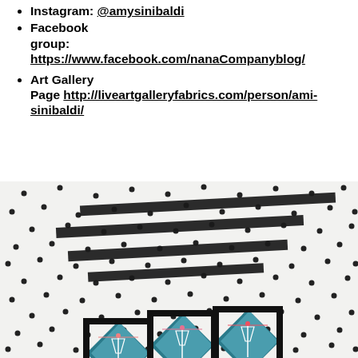Instagram: @amysinibaldi
Facebook group: https://www.facebook.com/nanaCompanyblog/
Art Gallery Page http://liveartgalleryfabrics.com/person/ami-sinibaldi/
[Figure (photo): A quilt or fabric project displayed on white dotted fabric with black accents. The fabric has a polka dot pattern with black circular dots on white. Black diagonal strips/sashing are visible across the upper portion. In the lower portion, three diamond-shaped quilt blocks are displayed, each framed in black fabric and containing a teal/blue background fabric with cocktail glass motifs in pink and red.]